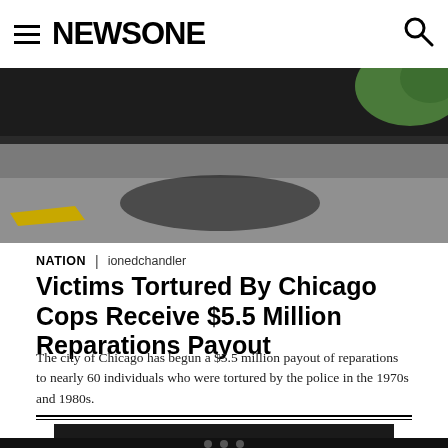≡ NEWSONE 🔍
[Figure (photo): Aerial or close-up view of a road/pavement with shadows and a yellow road marking, dark vehicle shadow visible, some greenery in top right corner]
NATION | ionedchandler
Victims Tortured By Chicago Cops Receive $5.5 Million Reparations Payout
The city of Chicago has begun a $5.5 million payout of reparations to nearly 60 individuals who were tortured by the police in the 1970s and 1980s.
TRENDING